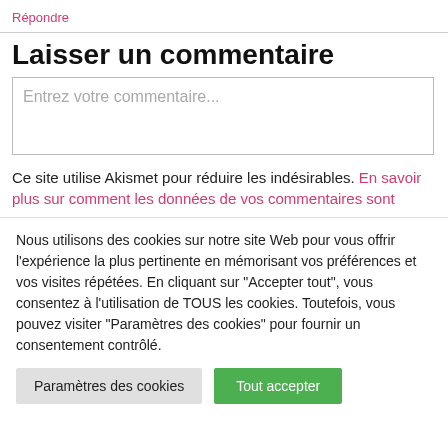Répondre
Laisser un commentaire
Entrez votre commentaire...
Ce site utilise Akismet pour réduire les indésirables. En savoir plus sur comment les données de vos commentaires sont
Nous utilisons des cookies sur notre site Web pour vous offrir l'expérience la plus pertinente en mémorisant vos préférences et vos visites répétées. En cliquant sur "Accepter tout", vous consentez à l'utilisation de TOUS les cookies. Toutefois, vous pouvez visiter "Paramètres des cookies" pour fournir un consentement contrôlé.
Paramètres des cookies
Tout accepter